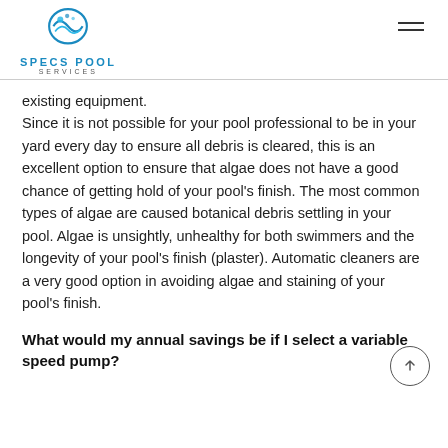SPECS POOL SERVICES
existing equipment.
Since it is not possible for your pool professional to be in your yard every day to ensure all debris is cleared, this is an excellent option to ensure that algae does not have a good chance of getting hold of your pool’s finish. The most common types of algae are caused botanical debris settling in your pool. Algae is unsightly, unhealthy for both swimmers and the longevity of your pool’s finish (plaster). Automatic cleaners are a very good option in avoiding algae and staining of your pool’s finish.
What would my annual savings be if I select a variable speed pump?